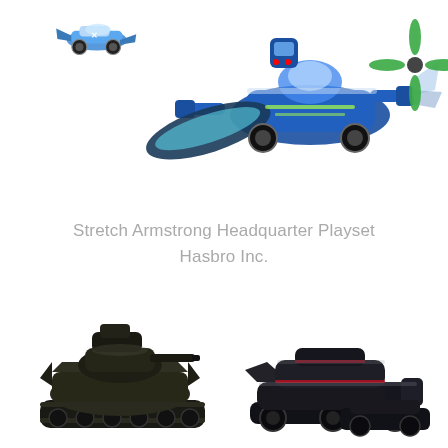[Figure (illustration): Cartoon/illustrated sci-fi vehicles: a small blue race car at top-left, and a large blue futuristic combined vehicle/mech assembly in the center-right, with green propeller element.]
Stretch Armstrong Headquarter Playset
Hasbro Inc.
[Figure (illustration): Two realistic dark military-style tracked/wheeled vehicles on white background. Left: large dark olive/black tank-like vehicle with turret. Right: sleek dark metallic six-wheeled armored vehicle. A third smaller vehicle is partially visible at bottom-right.]